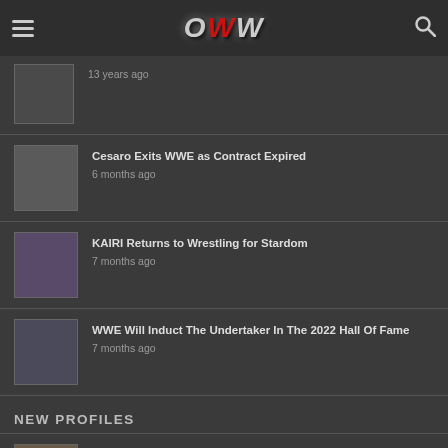OWW
13 years ago
Cesaro Exits WWE as Contract Expired — 6 months ago
KAIRI Returns to Wrestling for Stardom — 7 months ago
WWE Will Induct The Undertaker In The 2022 Hall Of Fame — 7 months ago
NEW PROFILES
Action Andretti — 1 week ago